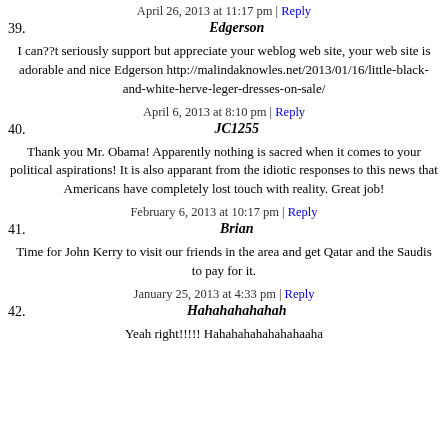39. Edgerson
April 26, 2013 at 11:17 pm | Reply
I can??t seriously support but appreciate your weblog web site, your web site is adorable and nice Edgerson http://malindaknowles.net/2013/01/16/little-black-and-white-herve-leger-dresses-on-sale/
40. JC1255
April 6, 2013 at 8:10 pm | Reply
Thank you Mr. Obama! Apparently nothing is sacred when it comes to your political aspirations! It is also apparant from the idiotic responses to this news that Americans have completely lost touch with reality. Great job!
41. Brian
February 6, 2013 at 10:17 pm | Reply
Time for John Kerry to visit our friends in the area and get Qatar and the Saudis to pay for it.
42. Hahahahahahah
January 25, 2013 at 4:33 pm | Reply
Yeah right!!!!! Hahahahahahahaaha